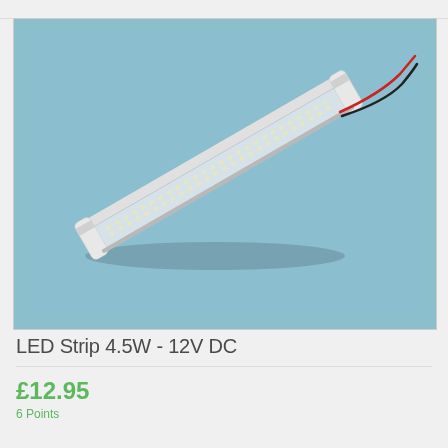[Figure (photo): LED Strip light bar 4.5W 12V DC product photo on light blue background. The strip is a long rectangular tube with clear housing showing LED lights inside, angled diagonally from bottom-left to upper-right, with red and black wires protruding from the right end.]
LED Strip 4.5W - 12V DC
£12.95
6 Points